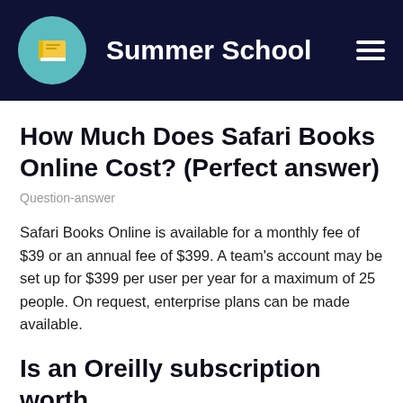Summer School
How Much Does Safari Books Online Cost? (Perfect answer)
Question-answer
Safari Books Online is available for a monthly fee of $39 or an annual fee of $399. A team’s account may be set up for $399 per user per year for a maximum of 25 people. On request, enterprise plans can be made available.
Is an Oreilly subscription worth